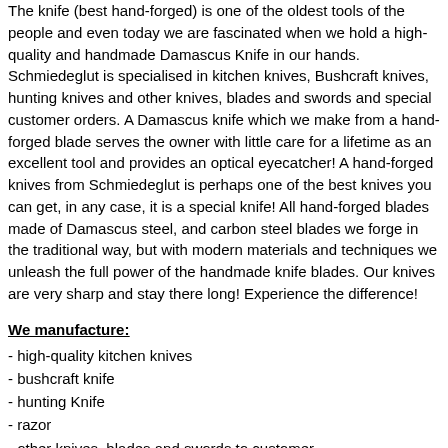The knife (best hand-forged) is one of the oldest tools of the people and even today we are fascinated when we hold a high-quality and handmade Damascus Knife in our hands. Schmiedeglut is specialised in kitchen knives, Bushcraft knives, hunting knives and other knives, blades and swords and special customer orders. A Damascus knife which we make from a hand-forged blade serves the owner with little care for a lifetime as an excellent tool and provides an optical eyecatcher! A hand-forged knives from Schmiedeglut is perhaps one of the best knives you can get, in any case, it is a special knife! All hand-forged blades made of Damascus steel, and carbon steel blades we forge in the traditional way, but with modern materials and techniques we unleash the full power of the handmade knife blades. Our knives are very sharp and stay there long! Experience the difference!
We manufacture:
- high-quality kitchen knives
- bushcraft knife
- hunting Knife
- razor
- other knives, blades and swords to customer